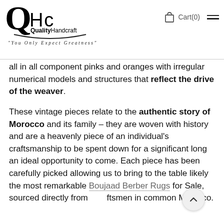QHc Quality Handcraft — "You Only Expect Greatness" | Cart(0)
all in all component pinks and oranges with irregular numerical models and structures that reflect the drive of the weaver.
These vintage pieces relate to the authentic story of Morocco and its family – they are woven with history and are a heavenly piece of an individual's craftsmanship to be spent down for a significant long an ideal opportunity to come. Each piece has been carefully picked allowing us to bring to the table likely the most remarkable Boujaad Berber Rugs for Sale, sourced directly from craftsmen in common Morocco.